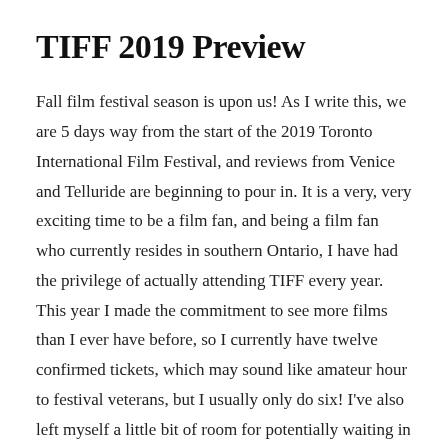TIFF 2019 Preview
Fall film festival season is upon us! As I write this, we are 5 days way from the start of the 2019 Toronto International Film Festival, and reviews from Venice and Telluride are beginning to pour in. It is a very, very exciting time to be a film fan, and being a film fan who currently resides in southern Ontario, I have had the privilege of actually attending TIFF every year. This year I made the commitment to see more films than I ever have before, so I currently have twelve confirmed tickets, which may sound like amateur hour to festival veterans, but I usually only do six! I've also left myself a little bit of room for potentially waiting in rush lines for some sold out